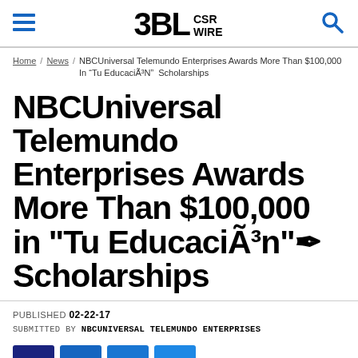3BL CSR WIRE
Home / News / NBCUniversal Telemundo Enterprises Awards More Than $100,000 In “Tu EducaciÃ³N” Scholarships
NBCUniversal Telemundo Enterprises Awards More Than $100,000 in "Tu EducaciÃ³n"✒ Scholarships
PUBLISHED 02-22-17
SUBMITTED BY NBCUNIVERSAL TELEMUNDO ENTERPRISES